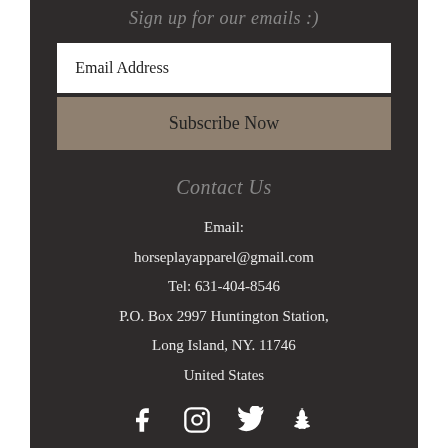Sign up for our emails :)
Email Address
Subscribe Now
Contact Us
Email:
horseplayapparel@gmail.com
Tel: 631-404-8546
P.O. Box 2997 Huntington Station,
Long Island, NY. 11746
United States
[Figure (illustration): Social media icons: Facebook, Instagram, Twitter, Snapchat]